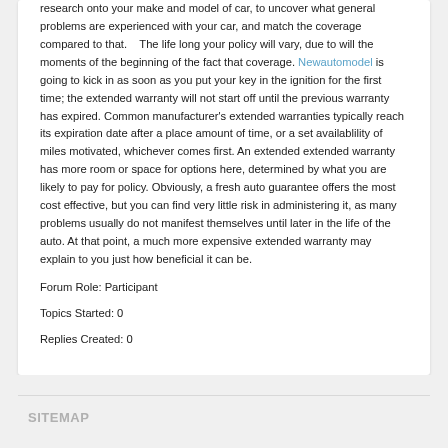research onto your make and model of car, to uncover what general problems are experienced with your car, and match the coverage compared to that.    The life long your policy will vary, due to will the moments of the beginning of the fact that coverage. Newautomodel is going to kick in as soon as you put your key in the ignition for the first time; the extended warranty will not start off until the previous warranty has expired. Common manufacturer's extended warranties typically reach its expiration date after a place amount of time, or a set availablility of miles motivated, whichever comes first. An extended extended warranty has more room or space for options here, determined by what you are likely to pay for policy. Obviously, a fresh auto guarantee offers the most cost effective, but you can find very little risk in administering it, as many problems usually do not manifest themselves until later in the life of the auto. At that point, a much more expensive extended warranty may explain to you just how beneficial it can be.
Forum Role: Participant
Topics Started: 0
Replies Created: 0
SITEMAP